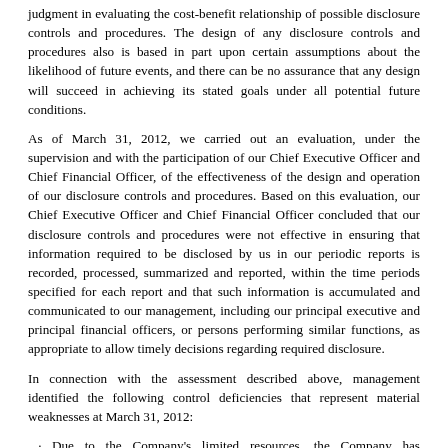judgment in evaluating the cost-benefit relationship of possible disclosure controls and procedures. The design of any disclosure controls and procedures also is based in part upon certain assumptions about the likelihood of future events, and there can be no assurance that any design will succeed in achieving its stated goals under all potential future conditions.
As of March 31, 2012, we carried out an evaluation, under the supervision and with the participation of our Chief Executive Officer and Chief Financial Officer, of the effectiveness of the design and operation of our disclosure controls and procedures. Based on this evaluation, our Chief Executive Officer and Chief Financial Officer concluded that our disclosure controls and procedures were not effective in ensuring that information required to be disclosed by us in our periodic reports is recorded, processed, summarized and reported, within the time periods specified for each report and that such information is accumulated and communicated to our management, including our principal executive and principal financial officers, or persons performing similar functions, as appropriate to allow timely decisions regarding required disclosure.
In connection with the assessment described above, management identified the following control deficiencies that represent material weaknesses at March 31, 2012:
Due to the Company's limited resources, the Company has insufficient personnel resources and technical accounting and reporting expertise to properly address all of the accounting matters inherent in the Company's financial transactions. The Company does not have a formal audit committee, and the Board does not have a financial expert, thus the